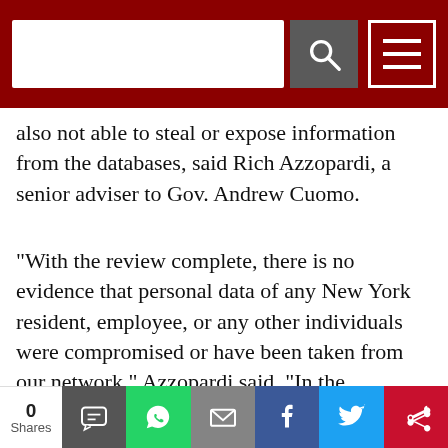[Search bar and navigation menu]
also not able to steal or expose information from the databases, said Rich Azzopardi, a senior adviser to Gov. Andrew Cuomo.
“With the review complete, there is no evidence that personal data of any New York resident, employee, or any other individuals were compromised or have been taken from our network,” Azzopardi said. “In the meantime, ITS (Office of Information Technology Services) has taken actions to further harden our network and protect the integrity of our system.”
Read More: Group Sues New York City MTA For Records On Facial Recognition Use in Subway
0 Shares